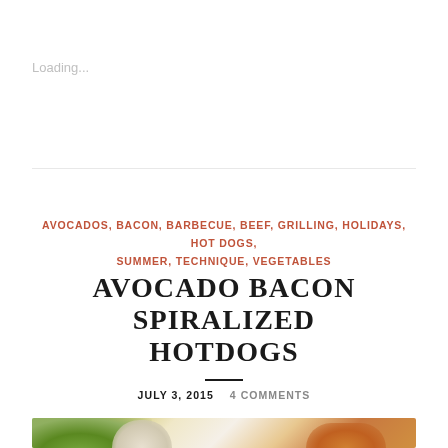Loading...
AVOCADOS, BACON, BARBECUE, BEEF, GRILLING, HOLIDAYS, HOT DOGS, SUMMER, TECHNIQUE, VEGETABLES
AVOCADO BACON SPIRALIZED HOTDOGS
JULY 3, 2015   4 COMMENTS
[Figure (photo): Photo of avocado bacon spiralized hotdogs, showing green avocado and colorful toppings at bottom of page]